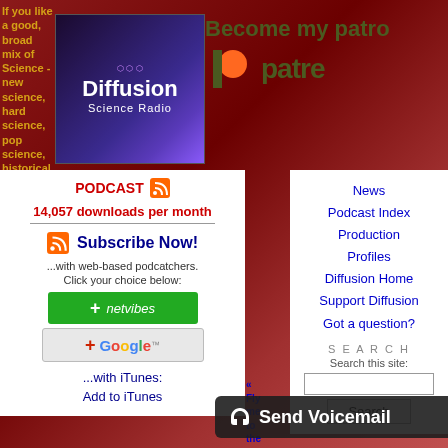If you like a good, broad mix of Science - new science, hard science, pop science, historical sci... and... silli... sci... list... Dif...
[Figure (logo): Diffusion Science Radio podcast logo with purple plasma background]
[Figure (logo): Patreon logo - Become my patron on patreon]
PODCAST
14,057 downloads per month
Subscribe Now!
...with web-based podcatchers. Click your choice below:
...with iTunes:
Add to iTunes
News
Podcast Index
Production
Profiles
Diffusion Home
Support Diffusion
Got a question?
SEARCH
Search this site:
« Fly me to the moon with love and fireworks
Send Voicemail